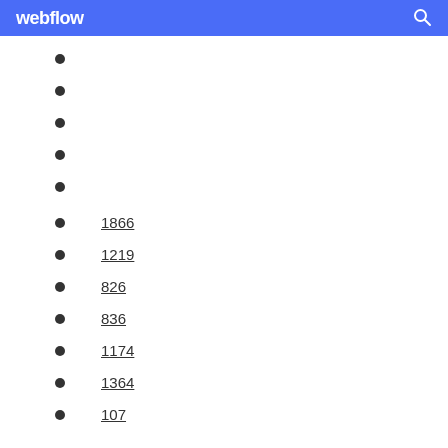webflow
1866
1219
826
836
1174
1364
107